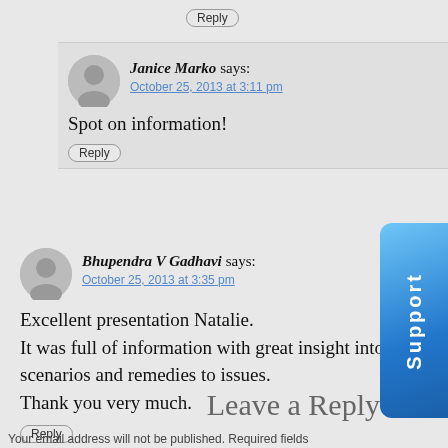Reply
Janice Marko says: October 25, 2013 at 3:11 pm
Spot on information!
Reply
Bhupendra V Gadhavi says: October 25, 2013 at 3:35 pm
Excellent presentation Natalie.
It was full of information with great insight into your scenarios and remedies to issues.
Thank you very much.
Reply
Leave a Reply
Your email address will not be published. Required fields